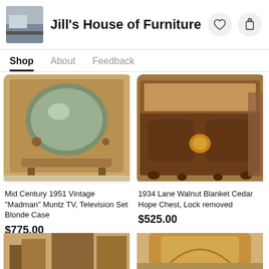Jill's House of Furniture
Shop | About | Feedback
[Figure (photo): Mid Century 1951 Vintage Muntz TV with blonde wood cabinet case]
[Figure (photo): 1934 Lane Walnut Blanket Cedar Hope Chest with ornate hardware, lid open]
Mid Century 1951 Vintage "Madman" Muntz TV, Television Set Blonde Case
$775.00
1934 Lane Walnut Blanket Cedar Hope Chest, Lock removed
$525.00
[Figure (photo): Partial view of another furniture item at the bottom left]
[Figure (photo): Partial view of another furniture item at the bottom right]